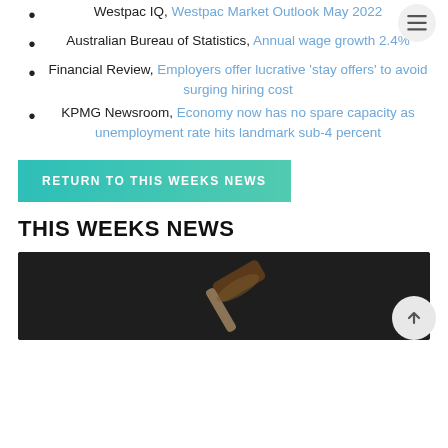Westpac IQ, Westpac Market Outlook May 2022
Australian Bureau of Statistics, Annual wage growth 2.4%
Financial Review, Employers offer lucrative 'stay offers' to avoid surging hiring cost
KPMG Newsroom, Economy now has no spare capacity as unemployment rate hits landmark sub-4 percent
RETURN TO THIS WEEKS NEWS
THIS WEEKS NEWS
[Figure (photo): Dark background photo showing a gavel/mallet, partially visible]